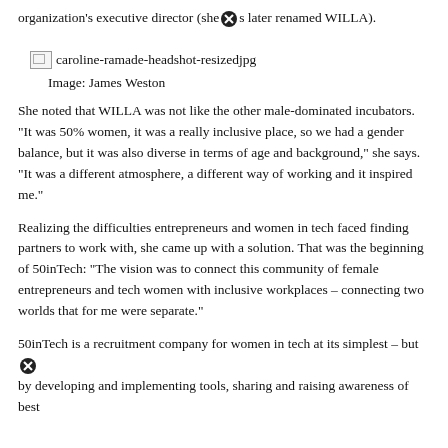organization's executive director (she was later renamed WILLA).
[Figure (photo): Broken image placeholder for caroline-ramade-headshot-resizedjpg]
Image: James Weston
She noted that WILLA was not like the other male-dominated incubators. "It was 50% women, it was a really inclusive place, so we had a gender balance, but it was also diverse in terms of age and background," she says. "It was a different atmosphere, a different way of working and it inspired me."
Realizing the difficulties entrepreneurs and women in tech faced finding partners to work with, she came up with a solution. That was the beginning of 50inTech: "The vision was to connect this community of female entrepreneurs and tech women with inclusive workplaces – connecting two worlds that for me were separate."
50inTech is a recruitment company for women in tech at its simplest – but by developing and implementing tools, sharing and raising awareness of best